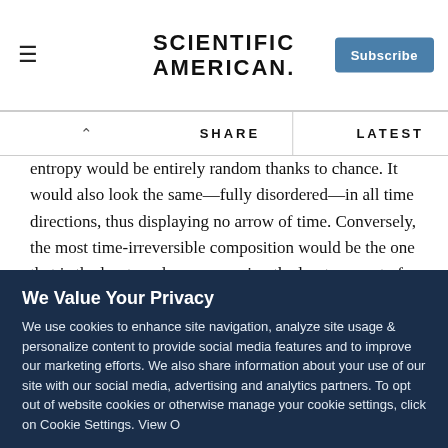SCIENTIFIC AMERICAN
entropy would be entirely random thanks to chance. It would also look the same—fully disordered—in all time directions, thus displaying no arrow of time. Conversely, the most time-irreversible composition would be the one that is the least random, possessing the least amount of entropy and the most structure. In this sense, measuring time irreversibility might reflect how singular a particular composer's style is—the difference, say, between the gaudy violinist Nicolo Paganini and the subdued absolutist John Rach...
We Value Your Privacy
We use cookies to enhance site navigation, analyze site usage & personalize content to provide social media features and to improve our marketing efforts. We also share information about your use of our site with our social media, advertising and analytics partners. To opt out of website cookies or otherwise manage your cookie settings, click on Cookie Settings. View O...